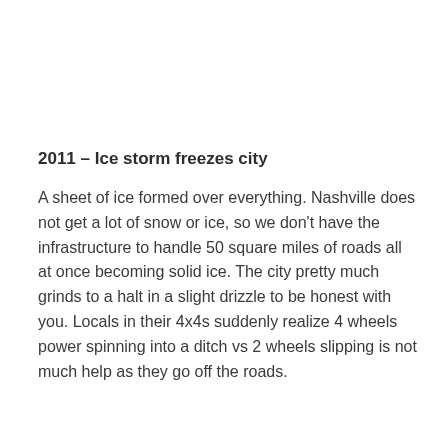2011 – Ice storm freezes city
A sheet of ice formed over everything. Nashville does not get a lot of snow or ice, so we don't have the infrastructure to handle 50 square miles of roads all at once becoming solid ice. The city pretty much grinds to a halt in a slight drizzle to be honest with you. Locals in their 4x4s suddenly realize 4 wheels power spinning into a ditch vs 2 wheels slipping is not much help as they go off the roads.